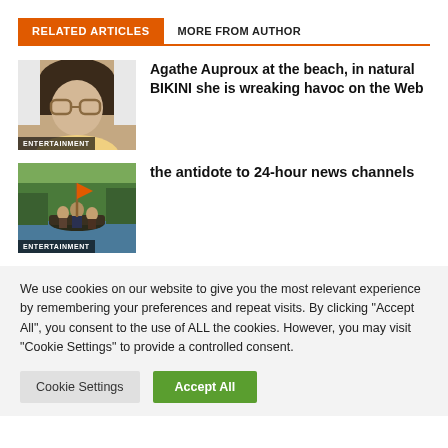RELATED ARTICLES  MORE FROM AUTHOR
[Figure (photo): Thumbnail photo of a woman with glasses, labeled ENTERTAINMENT]
Agathe Auproux at the beach, in natural BIKINI she is wreaking havoc on the Web
[Figure (photo): Thumbnail photo of people in a lake/river scene, labeled ENTERTAINMENT]
the antidote to 24-hour news channels
We use cookies on our website to give you the most relevant experience by remembering your preferences and repeat visits. By clicking "Accept All", you consent to the use of ALL the cookies. However, you may visit "Cookie Settings" to provide a controlled consent.